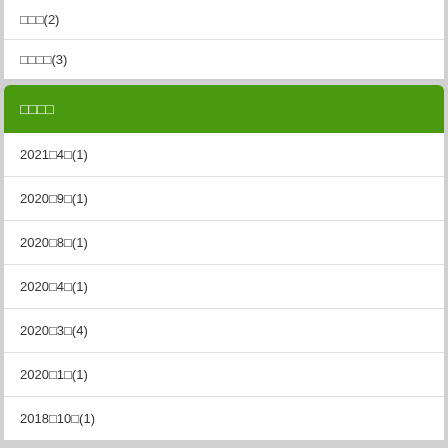□□□(2)
□□□□(3)
□□□□
2021□4□(1)
2020□9□(1)
2020□8□(1)
2020□4□(1)
2020□3□(4)
2020□1□(1)
2018□10□(1)